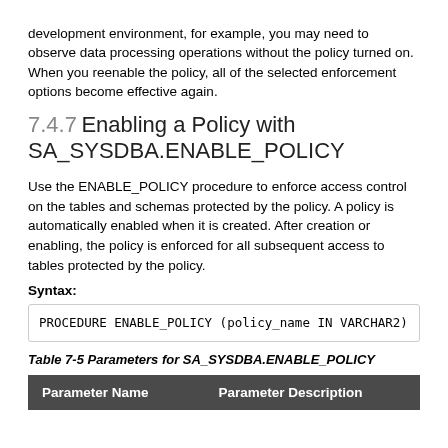development environment, for example, you may need to observe data processing operations without the policy turned on. When you reenable the policy, all of the selected enforcement options become effective again.
7.4.7 Enabling a Policy with SA_SYSDBA.ENABLE_POLICY
Use the ENABLE_POLICY procedure to enforce access control on the tables and schemas protected by the policy. A policy is automatically enabled when it is created. After creation or enabling, the policy is enforced for all subsequent access to tables protected by the policy.
Syntax:
PROCEDURE ENABLE_POLICY (policy_name IN VARCHAR2)
Table 7-5 Parameters for SA_SYSDBA.ENABLE_POLICY
| Parameter Name | Parameter Description |
| --- | --- |